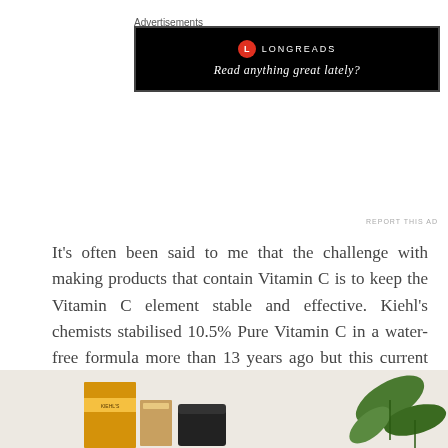Advertisements
[Figure (other): Longreads advertisement banner with black background, red circle logo with 'L', text 'LONGREADS' and tagline 'Read anything great lately?']
REPORT THIS AD
It’s often been said to me that the challenge with making products that contain Vitamin C is to keep the Vitamin C element stable and effective. Kiehl’s chemists stabilised 10.5% Pure Vitamin C in a water-free formula more than 13 years ago but this current formula includes 12.5% Vitamin C (10.5% L-Ascorbic Acid and 2% Ascorbyl Glucoside) along with Hyaluronic Acid. This serum has been carefully formulated so that it can provide clinically proven results in a product that is gentle enough for sensitive skin.
[Figure (photo): Partial product photo showing Kiehl's Vitamin C skincare products against a light background with green leaves on the right side.]